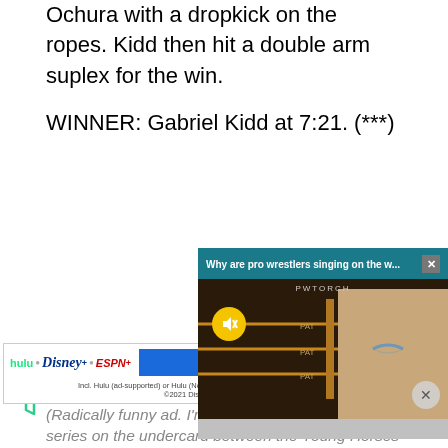Ochura with a dropkick on the ropes. Kidd then hit a double arm suplex for the win.
WINNER: Gabriel Kidd at 7:21. (***)
[Figure (screenshot): Video popup overlay titled 'Why are pro wrestlers singing on the w...' with a close X button, PWTORCH branding, a muted video thumbnail showing a person in a black cap against a wrestling ring background, with a yellow mute button and a circular close button.]
[Figure (logo): Green filter/funnel icon]
[Figure (screenshot): Advertisement banner: hulu Disney+ ESPN+ logos with blue 'GET THE DISNEY BUNDLE' call-to-action button and fine print text: 'Incl. Hulu (ad-supported) or Hulu (No Ads). Access content from each service separately. ©2021 Disney and its related entities']
(Radically funny ad. I'm enjoying the round robin series on the undercard between the Young Horses for Thompson...